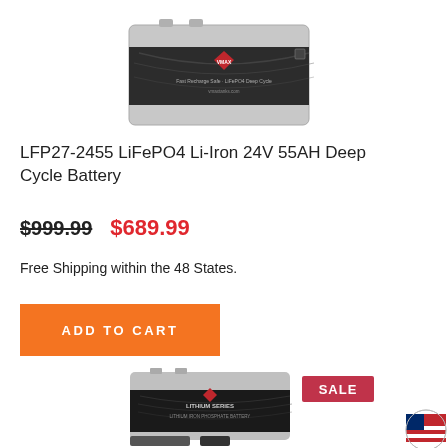[Figure (photo): LFP27-2455 LiFePO4 Li-Iron 24V 55AH Deep Cycle Battery product image, gray rectangular battery box with dark label]
LFP27-2455 LiFePO4 Li-Iron 24V 55AH Deep Cycle Battery
$999.99 $689.99
Free Shipping within the 48 States.
ADD TO CART
[Figure (photo): Lithium Series deep cycle battery product with SALE badge, bottom of page showing another battery product image with accessories]